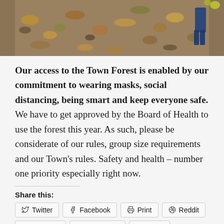[Figure (photo): Aerial or ground-level photo of autumn forest floor with fallen leaves in brown, orange, and yellow tones. A person in blue boots is partially visible in the upper right.]
Our access to the Town Forest is enabled by our commitment to wearing masks, social distancing, being smart and keep everyone safe. We have to get approved by the Board of Health to use the forest this year. As such, please be considerate of our rules, group size requirements and our Town’s rules. Safety and health – number one priority especially right now.
Share this:
Twitter
Facebook
Print
Reddit
Pinterest
WhatsApp
Email